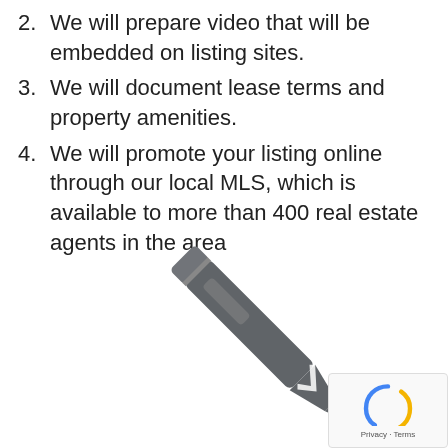2. We will prepare video that will be embedded on listing sites.
3. We will document lease terms and property amenities.
4. We will promote your listing online through our local MLS, which is available to more than 400 real estate agents in the area
[Figure (illustration): A large gray pencil icon oriented diagonally, pointing toward the lower left, representing editing or writing.]